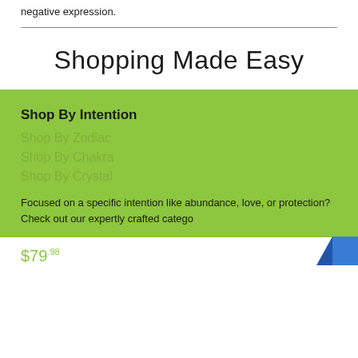negative expression.
Shopping Made Easy
Shop By Intention
Shop By Zodiac
Shop By Chakra
Shop By Crystal
Focused on a specific intention like abundance, love, or protection? Check out our expertly crafted catego...
$79.98